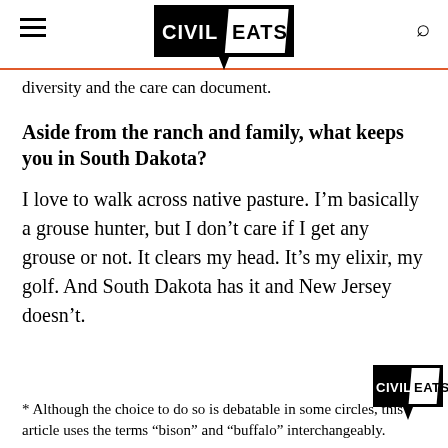Civil Eats
diversity and the care can document.
Aside from the ranch and family, what keeps you in South Dakota?
I love to walk across native pasture. I'm basically a grouse hunter, but I don't care if I get any grouse or not. It clears my head. It's my elixir, my golf. And South Dakota has it and New Jersey doesn't.
* Although the choice to do so is debatable in some circles, this article uses the terms “bison” and “buffalo” interchangeably.